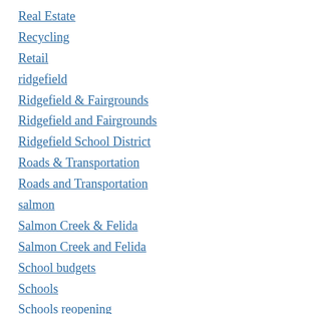Real Estate
Recycling
Retail
ridgefield
Ridgefield & Fairgrounds
Ridgefield and Fairgrounds
Ridgefield School District
Roads & Transportation
Roads and Transportation
salmon
Salmon Creek & Felida
Salmon Creek and Felida
School budgets
Schools
Schools reopening